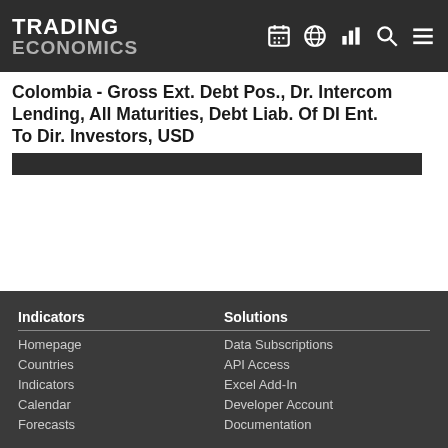TRADING ECONOMICS
Colombia - Gross Ext. Debt Pos., Dr. Intercom Lending, All Maturities, Debt Liab. Of DI Ent. To Dir. Investors, USD
Indicators
Homepage
Countries
Indicators
Calendar
Forecasts
Solutions
Data Subscriptions
API Access
Excel Add-In
Developer Account
Documentation